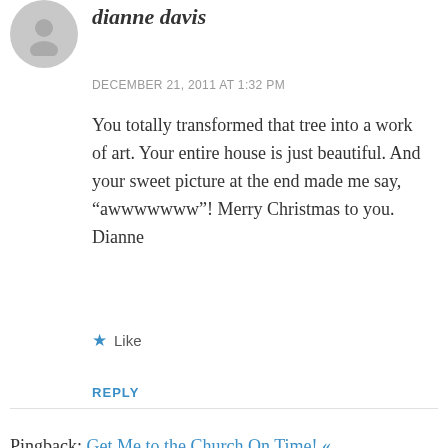[Figure (illustration): Gray circular avatar placeholder with a generic person silhouette icon]
dianne davis
DECEMBER 21, 2011 AT 1:32 PM
You totally transformed that tree into a work of art. Your entire house is just beautiful. And your sweet picture at the end made me say, “awwwwwww”! Merry Christmas to you. Dianne
★ Like
REPLY
Pingback: Get Me to the Church On Time! « Tablescapes at Table Twenty-One